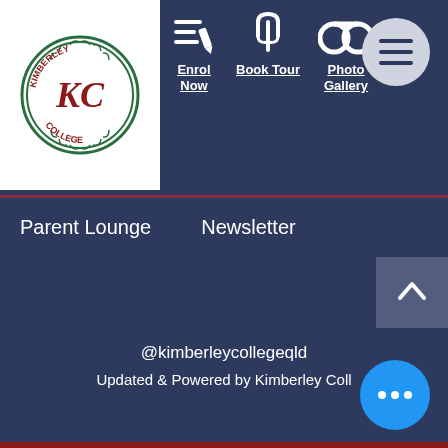[Figure (logo): Kimberley College school crest logo: circular emblem with 'KC' monogram, leafy border, 'KIMBERLEY' at top, 'COLLEGE' at bottom, maroon and green colors on white background]
[Figure (infographic): Navigation icons: pencil/list icon for Enrol Now, fork/tuning fork icon for Book Tour, binoculars icon for Photo Gallery, hamburger menu button (circle with three lines)]
Enrol Now
Book Tour
Photo Gallery
Parent Lounge
Newsletter
@kimberleycollegeqld
Updated & Powered by Kimberley Coll...